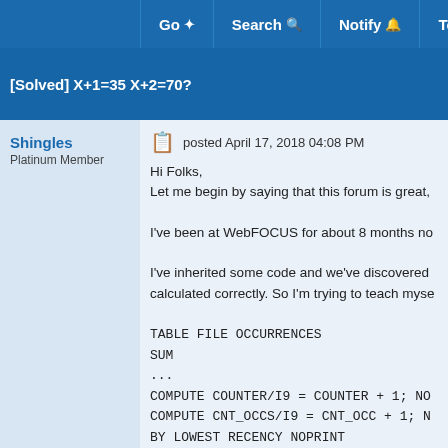Go  Search  Notify  Tools
[Solved] X+1=35 X+2=70?
Shingles
Platinum Member
posted April 17, 2018 04:08 PM
Hi Folks,
Let me begin by saying that this forum is great,

I've been at WebFOCUS for about 8 months no

I've inherited some code and we've discovered
calculated correctly. So I'm trying to teach myse

TABLE FILE OCCURRENCES
SUM
...
COMPUTE COUNTER/I9 = COUNTER + 1; NO
COMPUTE CNT_OCCS/I9 = CNT_OCC + 1; N
BY LOWEST RECENCY NOPRINT
BY OCCURRENCES.FACT_OCCURRENCE.C
BY OCCURRENCES.FACT_OCCURRENCE.C
...

My first issue (and I don't think any of you can s
I've searched every fex file for that string with n
biggest gripe is with the following...

What is really blowing my mind is that